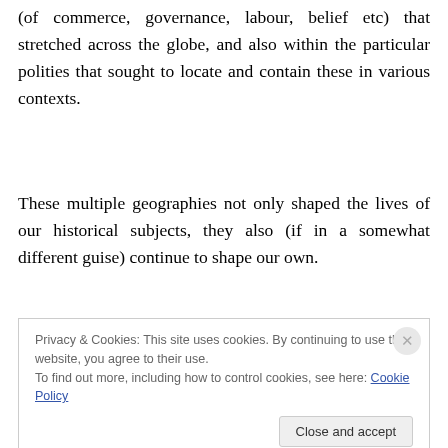(of commerce, governance, labour, belief etc) that stretched across the globe, and also within the particular polities that sought to locate and contain these in various contexts.
These multiple geographies not only shaped the lives of our historical subjects, they also (if in a somewhat different guise) continue to shape our own.
Privacy & Cookies: This site uses cookies. By continuing to use this website, you agree to their use.
To find out more, including how to control cookies, see here: Cookie Policy